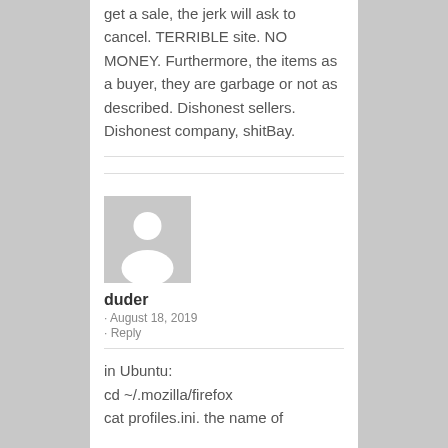get a sale, the jerk will ask to cancel. TERRIBLE site. NO MONEY. Furthermore, the items as a buyer, they are garbage or not as described. Dishonest sellers. Dishonest company, shitBay.
[Figure (illustration): Generic user avatar: gray square with a white silhouette of a person (head and shoulders)]
duder
· August 18, 2019
· Reply
in Ubuntu:
cd ~/.mozilla/firefox
cat profiles.ini. the name of